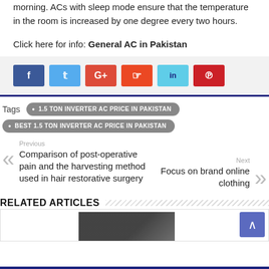to fall, which can lead to discomfort, particularly at night or early morning. ACs with sleep mode ensure that the temperature in the room is increased by one degree every two hours.
Click here for info: General AC in Pakistan
[Figure (infographic): Social media share buttons: Facebook (blue), Twitter (light blue), Google+ (red), StumbleUpon (orange-red), LinkedIn (light blue/teal), Pinterest (red)]
1.5 TON INVERTER AC PRICE IN PAKISTAN
BEST 1.5 TON INVERTER AC PRICE IN PAKISTAN
Previous
Comparison of post-operative pain and the harvesting method used in hair restorative surgery
Next
Focus on brand online clothing
RELATED ARTICLES
[Figure (photo): Dark image partially visible at bottom, scroll-to-top button (blue/purple) with up arrow on right]